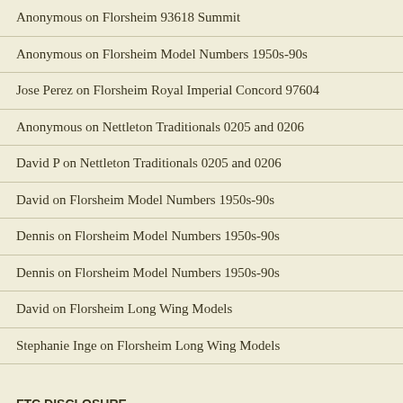Anonymous on Florsheim 93618 Summit
Anonymous on Florsheim Model Numbers 1950s-90s
Jose Perez on Florsheim Royal Imperial Concord 97604
Anonymous on Nettleton Traditionals 0205 and 0206
David P on Nettleton Traditionals 0205 and 0206
David on Florsheim Model Numbers 1950s-90s
Dennis on Florsheim Model Numbers 1950s-90s
Dennis on Florsheim Model Numbers 1950s-90s
David on Florsheim Long Wing Models
Stephanie Inge on Florsheim Long Wing Models
FTC DISCLOSURE